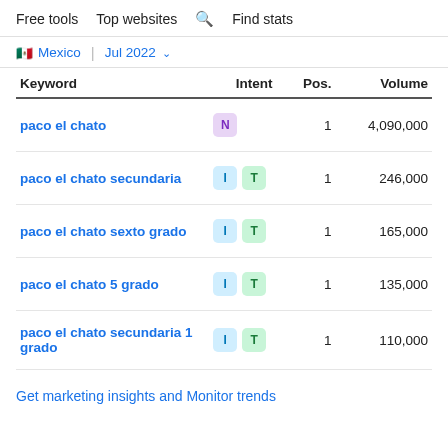Free tools   Top websites   Find stats
Mexico | Jul 2022
| Keyword | Intent | Pos. | Volume |
| --- | --- | --- | --- |
| paco el chato | N | 1 | 4,090,000 |
| paco el chato secundaria | I T | 1 | 246,000 |
| paco el chato sexto grado | I T | 1 | 165,000 |
| paco el chato 5 grado | I T | 1 | 135,000 |
| paco el chato secundaria 1 grado | I T | 1 | 110,000 |
Get marketing insights and Monitor trends